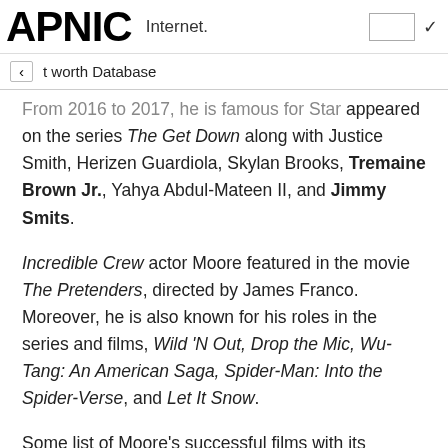APNIC Internet.
t worth Database
From 2016 to 2017, he is famous for Star appeared on the series The Get Down along with Justice Smith, Herizen Guardiola, Skylan Brooks, Tremaine Brown Jr., Yahya Abdul-Mateen II, and Jimmy Smits.
Incredible Crew actor Moore featured in the movie The Pretenders, directed by James Franco. Moreover, he is also known for his roles in the series and films, Wild 'N Out, Drop the Mic, Wu-Tang: An American Saga, Spider-Man: Into the Spider-Verse, and Let It Snow.
Some list of Moore's successful films with its earnings are listed below: